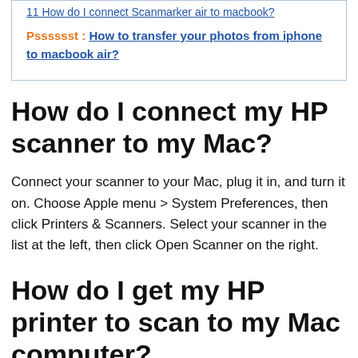11 How do I connect Scanmarker air to macbook?
Psssssst :  How to transfer your photos from iphone to macbook air?
How do I connect my HP scanner to my Mac?
Connect your scanner to your Mac, plug it in, and turn it on. Choose Apple menu > System Preferences, then click Printers & Scanners. Select your scanner in the list at the left, then click Open Scanner on the right.
How do I get my HP printer to scan to my Mac computer?